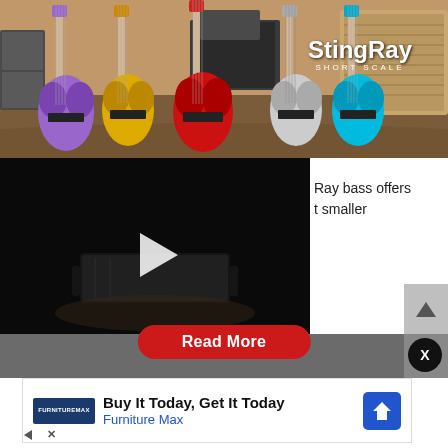[Figure (photo): Hero image showing multiple bass guitars (purple, yellow, red, white/silver, blue) lined up in a music studio with amplifiers. StingRay Short Scale logo in top right.]
[Figure (screenshot): Video player with black background showing a guitar pedal/accessory silhouette and a white play button triangle in the center.]
Ray bass offers t smaller
Read More
[Figure (infographic): Advertisement banner: FurnitureMax logo, headline 'Buy It Today, Get It Today', subtext 'Furniture Max' in blue, blue navigation icon on right.]